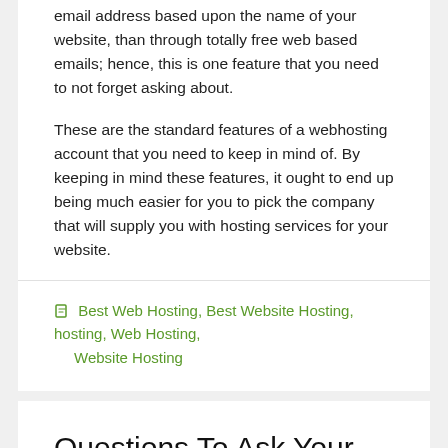email address based upon the name of your website, than through totally free web based emails; hence, this is one feature that you need to not forget asking about.
These are the standard features of a webhosting account that you need to keep in mind of. By keeping in mind these features, it ought to end up being much easier for you to pick the company that will supply you with hosting services for your website.
Best Web Hosting, Best Website Hosting, hosting, Web Hosting, Website Hosting
Questions To Ask Your Prospective Hosting Provider